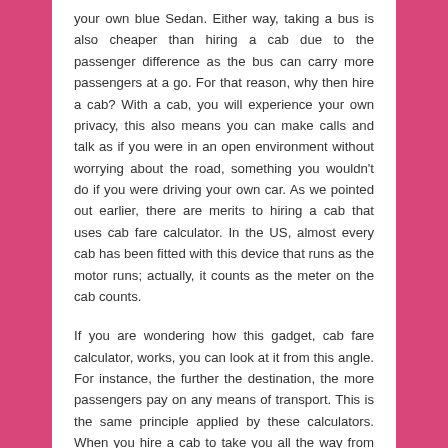your own blue Sedan. Either way, taking a bus is also cheaper than hiring a cab due to the passenger difference as the bus can carry more passengers at a go. For that reason, why then hire a cab? With a cab, you will experience your own privacy, this also means you can make calls and talk as if you were in an open environment without worrying about the road, something you wouldn't do if you were driving your own car. As we pointed out earlier, there are merits to hiring a cab that uses cab fare calculator. In the US, almost every cab has been fitted with this device that runs as the motor runs; actually, it counts as the meter on the cab counts.
If you are wondering how this gadget, cab fare calculator, works, you can look at it from this angle. For instance, the further the destination, the more passengers pay on any means of transport. This is the same principle applied by these calculators. When you hire a cab to take you all the way from San Diego to Los Angeles, you will be rated higher than a person who hires the same cab for shorter distance. Regardless of where you are, taking a cab